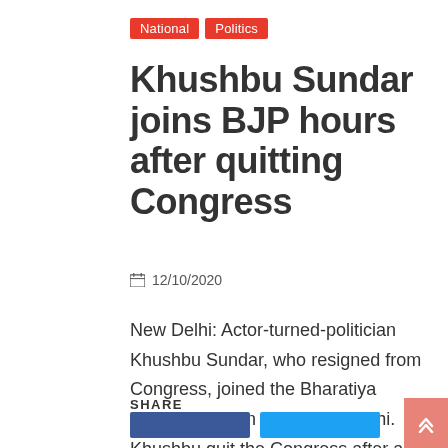National | Politics
Khushbu Sundar joins BJP hours after quitting Congress
12/10/2020
New Delhi: Actor-turned-politician Khushbu Sundar, who resigned from Congress, joined the Bharatiya Janata Party on Monday in Delhi. Khushbu quit the Congress after a six-year
Read More
SHARE